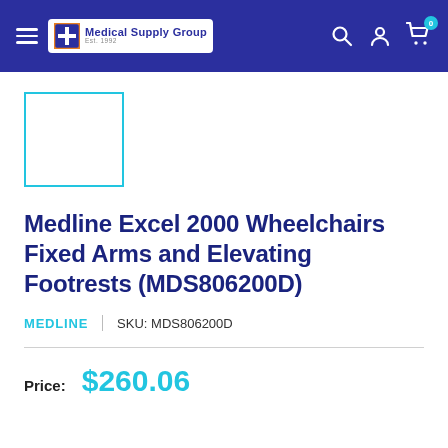Medical Supply Group — Est. 1992 | Navigation bar
[Figure (photo): Product image placeholder — white box with cyan/teal border]
Medline Excel 2000 Wheelchairs Fixed Arms and Elevating Footrests (MDS806200D)
MEDLINE | SKU: MDS806200D
Price: $260.06